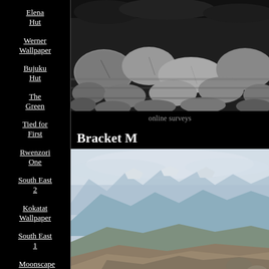Elena Hut
Werner Wallpaper
Bujuku Hut
The Green
Tied for First
Rwenzori One
South East 2
Kokatat Wallpaper
South East 1
Moonscape
Centennial
[Figure (photo): Black and white photo of rocky terrain with large boulders and stones]
online surveys
Bracket M
[Figure (photo): Color photo of mountain landscape with snow-capped peaks, hazy blue mountains in background and brown hills in foreground]